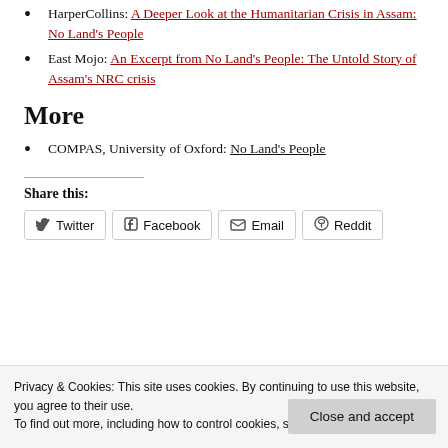HarperCollins: A Deeper Look at the Humanitarian Crisis in Assam: No Land's People
East Mojo: An Excerpt from No Land's People: The Untold Story of Assam's NRC crisis
More
COMPAS, University of Oxford: No Land's People
Share this:
Twitter  Facebook  Email  Reddit
Privacy & Cookies: This site uses cookies. By continuing to use this website, you agree to their use. To find out more, including how to control cookies, see here: Cookie Policy